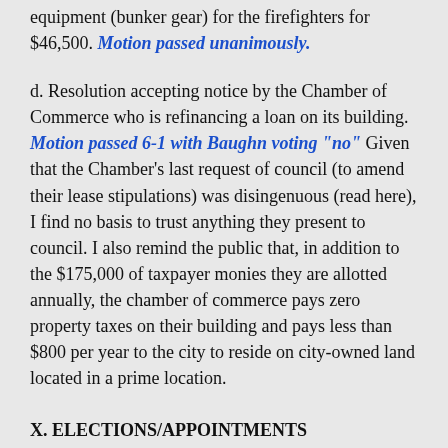equipment (bunker gear) for the firefighters for $46,500. Motion passed unanimously.
d. Resolution accepting notice by the Chamber of Commerce who is refinancing a loan on its building. Motion passed 6-1 with Baughn voting "no" Given that the Chamber's last request of council (to amend their lease stipulations) was disingenuous (read here), I find no basis to trust anything they present to council. I also remind the public that, in addition to the $175,000 of taxpayer monies they are allotted annually, the chamber of commerce pays zero property taxes on their building and pays less than $800 per year to the city to reside on city-owned land located in a prime location.
X. ELECTIONS/APPOINTMENTS
Seven members were appointed by unanimous vote to the 2015 Charter Review Committee. They are as follows: